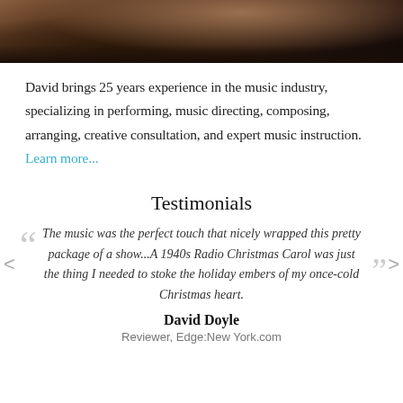[Figure (photo): Partial photo of a person seated at what appears to be a piano, dark tones, cropped to show only the top portion]
David brings 25 years experience in the music industry, specializing in performing, music directing, composing, arranging, creative consultation, and expert music instruction. Learn more...
Testimonials
The music was the perfect touch that nicely wrapped this pretty package of a show...A 1940s Radio Christmas Carol was just the thing I needed to stoke the holiday embers of my once-cold Christmas heart.
David Doyle
Reviewer, Edge:New York.com